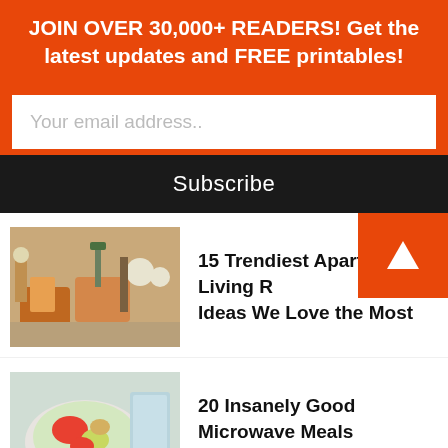JOIN OVER 30,000+ READERS! Get the latest updates and FREE printables!
Your email address..
Subscribe
15 Trendiest Apartment Living Room Ideas We Love the Most
20 Insanely Good Microwave Meals Everyone Should Know
20 Insanely Cute Stickers for Bullet Journal